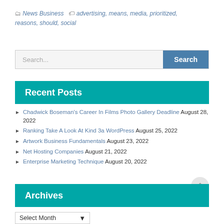News Business  advertising, means, media, prioritized, reasons, should, social
[Figure (other): Search bar with text input and Search button]
Recent Posts
Chadwick Boseman's Career In Films Photo Gallery Deadline August 28, 2022
Ranking Take A Look At Kind 3a WordPress August 25, 2022
Artwork Business Fundamentals August 23, 2022
Net Hosting Companies August 21, 2022
Enterprise Marketing Technique August 20, 2022
Archives
Select Month